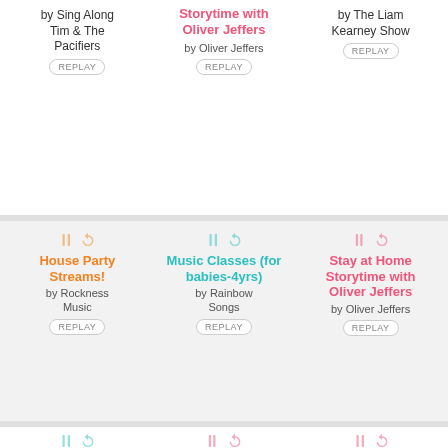by Sing Along Tim & The Pacifiers
Storytime with Oliver Jeffers by Oliver Jeffers
by The Liam Kearney Show
House Party Streams! by Rockness Music
Music Classes (for babies-4yrs) by Rainbow Songs
Stay at Home Storytime with Oliver Jeffers by Oliver Jeffers
Music for Little Ones 0-24 mths by Music with Drew
Home Safari by Cincinnati Zoo
Live Story Time by Mastermind Toys